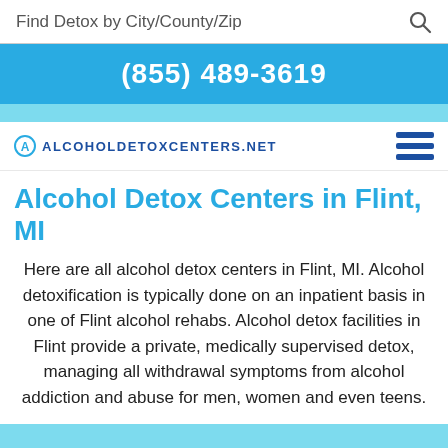Find Detox by City/County/Zip
(855) 489-3619
AlcoholDetoxCenters.net
Alcohol Detox Centers in Flint, MI
Here are all alcohol detox centers in Flint, MI. Alcohol detoxification is typically done on an inpatient basis in one of Flint alcohol rehabs. Alcohol detox facilities in Flint provide a private, medically supervised detox, managing all withdrawal symptoms from alcohol addiction and abuse for men, women and even teens.